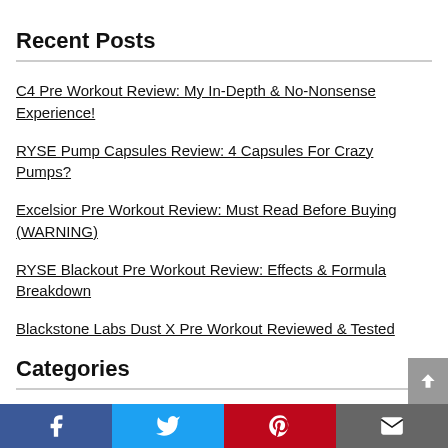Recent Posts
C4 Pre Workout Review: My In-Depth & No-Nonsense Experience!
RYSE Pump Capsules Review: 4 Capsules For Crazy Pumps?
Excelsior Pre Workout Review: Must Read Before Buying (WARNING)
RYSE Blackout Pre Workout Review: Effects & Formula Breakdown
Blackstone Labs Dust X Pre Workout Reviewed & Tested
Categories
Amino Acids